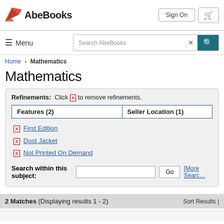AbeBooks — Sign On | Cart
Menu | Search AbeBooks
Home > Mathematics
Mathematics
Refinements: Click [x] to remove refinements.
| Features (2) | Seller Location (1) |
| --- | --- |
[x] First Edition
[x] Dust Jacket
[x] Not Printed On Demand
Search within this subject: [input] Go [More Search]
2 Matches (Displaying results 1 - 2)  Sort Results